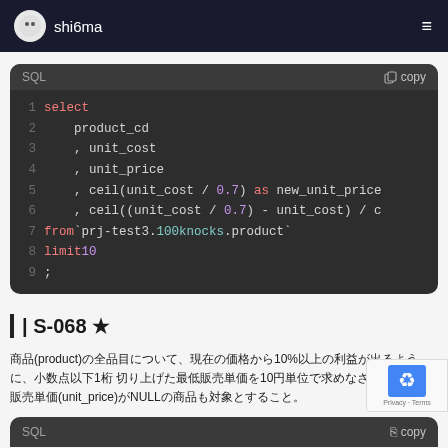shi6ma
[Figure (screenshot): SQL code block showing a SELECT query with product_cd, unit_cost, unit_price, ceil(unit_cost / 0.7) as new_unit_price, ceil((unit_cost / 0.7) - unit_cost) / ... from `prj-test3.100knocks.product` limit 10;]
| S-068 ★
商品(product)の全品目について、現在の価格から10%以上の利益が出るように、小数点以下1桁 切り上げた最低販売単価を10円単位で求めなさい。なお、販売単価(unit_price)がNULLの商品も対象とすること。
[Figure (screenshot): Bottom of page showing beginning of another SQL code block header]